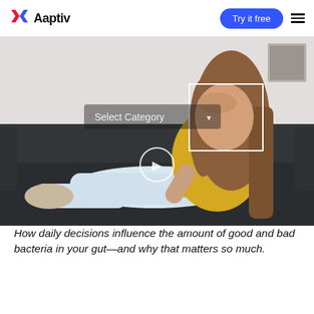Aaptiv | Try it free
[Figure (photo): A young woman with long brown hair wearing a yellow top and light jeans, sitting on a dark sofa with her hand on her forehead, appearing distressed or in pain. A white rectangle outline is visible near the top right (highlighting her face), and a circular play button icon is visible in the center of the image. A 'Select Category' dropdown overlay is visible in the upper left of the image.]
How daily decisions influence the amount of good and bad bacteria in your gut—and why that matters so much.